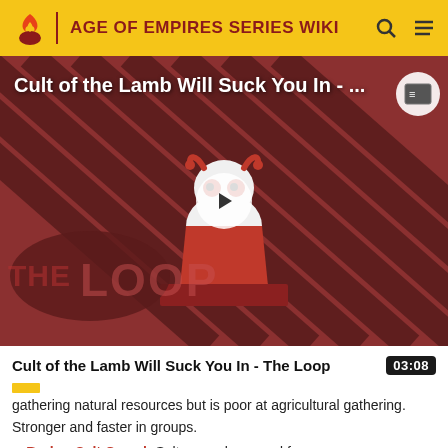AGE OF EMPIRES SERIES WIKI
[Figure (screenshot): Video thumbnail for 'Cult of the Lamb Will Suck You In - The Loop' showing a cartoon lamb character on a striped red/black background with THE LOOP branding and a play button in the center.]
Cult of the Lamb Will Suck You In - The Loop  03:08
gathering natural resources but is poor at agricultural gathering. Stronger and faster in groups.
Berber Salt Camel: Salty camel enraged from